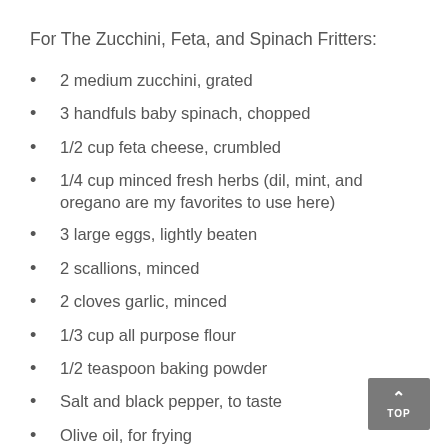For The Zucchini, Feta, and Spinach Fritters:
2 medium zucchini, grated
3 handfuls baby spinach, chopped
1/2 cup feta cheese, crumbled
1/4 cup minced fresh herbs (dil, mint, and oregano are my favorites to use here)
3 large eggs, lightly beaten
2 scallions, minced
2 cloves garlic, minced
1/3 cup all purpose flour
1/2 teaspoon baking powder
Salt and black pepper, to taste
Olive oil, for frying
1. In a blender combine all of the tzatziki